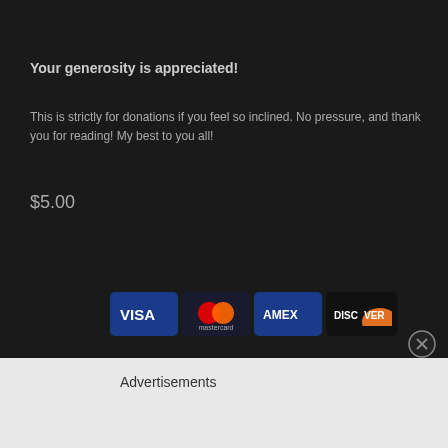Your generosity is appreciated!
This is strictly for donations if you feel so inclined. No pressure, and thank you for reading! My best to you all!
$5.00
[Figure (screenshot): Quantity input field showing 1 with up/down arrows, and a PayPal button beside it]
[Figure (infographic): Payment logos: VISA, Mastercard, AMEX, DISCOVER]
[Figure (other): Close button (X circle) in bottom right of dark section]
Advertisements